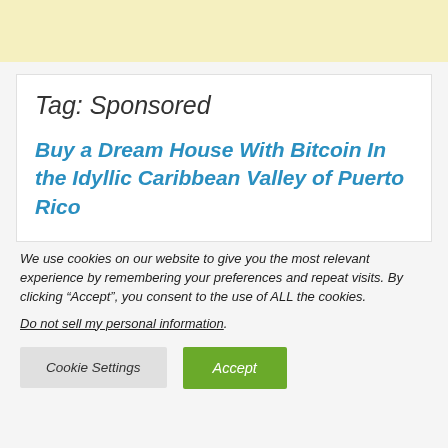[Figure (other): Yellow banner advertisement area at top of page]
Tag: Sponsored
Buy a Dream House With Bitcoin In the Idyllic Caribbean Valley of Puerto Rico
We use cookies on our website to give you the most relevant experience by remembering your preferences and repeat visits. By clicking “Accept”, you consent to the use of ALL the cookies.
Do not sell my personal information.